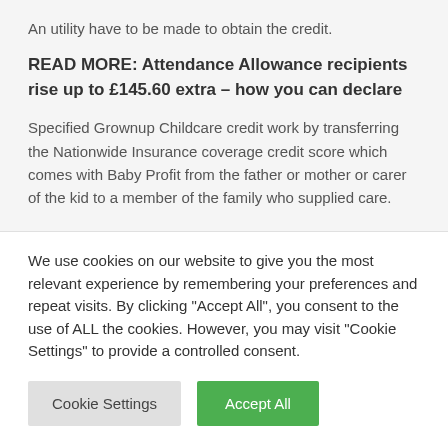An utility have to be made to obtain the credit.
READ MORE: Attendance Allowance recipients rise up to £145.60 extra – how you can declare
Specified Grownup Childcare credit work by transferring the Nationwide Insurance coverage credit score which comes with Baby Profit from the father or mother or carer of the kid to a member of the family who supplied care.
We use cookies on our website to give you the most relevant experience by remembering your preferences and repeat visits. By clicking "Accept All", you consent to the use of ALL the cookies. However, you may visit "Cookie Settings" to provide a controlled consent.